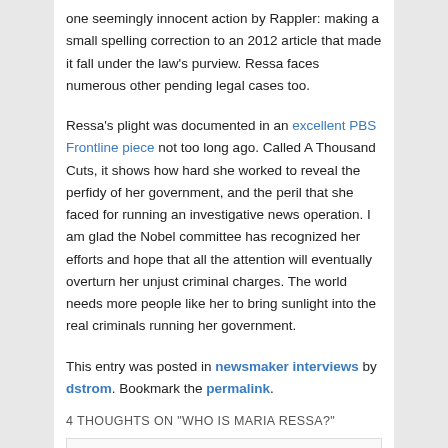one seemingly innocent action by Rappler: making a small spelling correction to an 2012 article that made it fall under the law's purview. Ressa faces numerous other pending legal cases too.
Ressa's plight was documented in an excellent PBS Frontline piece not too long ago. Called A Thousand Cuts, it shows how hard she worked to reveal the perfidy of her government, and the peril that she faced for running an investigative news operation. I am glad the Nobel committee has recognized her efforts and hope that all the attention will eventually overturn her unjust criminal charges. The world needs more people like her to bring sunlight into the real criminals running her government.
This entry was posted in newsmaker interviews by dstrom. Bookmark the permalink.
4 THOUGHTS ON “WHO IS MARIA RESSA?”